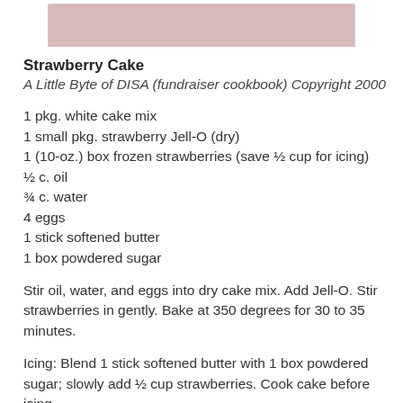[Figure (photo): Partial view of a pink strawberry cake from above, cropped at top of page]
Strawberry Cake
A Little Byte of DISA (fundraiser cookbook) Copyright 2000
1 pkg. white cake mix
1 small pkg. strawberry Jell-O (dry)
1 (10-oz.) box frozen strawberries (save ½ cup for icing)
½ c. oil
¾ c. water
4 eggs
1 stick softened butter
1 box powdered sugar
Stir oil, water, and eggs into dry cake mix. Add Jell-O. Stir strawberries in gently. Bake at 350 degrees for 30 to 35 minutes.
Icing: Blend 1 stick softened butter with 1 box powdered sugar; slowly add ½ cup strawberries. Cook cake before icing.